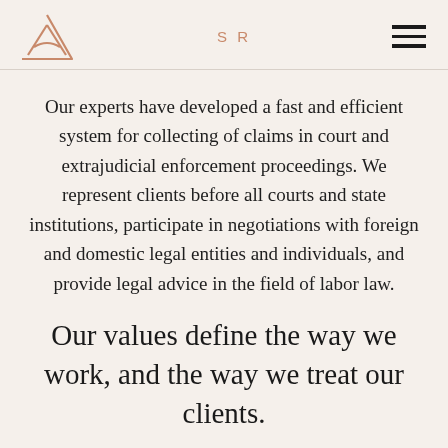SR
Our experts have developed a fast and efficient system for collecting of claims in court and extrajudicial enforcement proceedings. We represent clients before all courts and state institutions, participate in negotiations with foreign and domestic legal entities and individuals, and provide legal advice in the field of labor law.
Our values define the way we work, and the way we treat our clients.